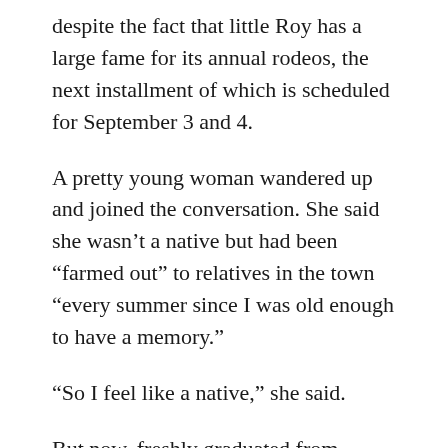despite the fact that little Roy has a large fame for its annual rodeos, the next installment of which is scheduled for September 3 and 4.
A pretty young woman wandered up and joined the conversation. She said she wasn’t a native but had been “farmed out” to relatives in the town “every summer since I was old enough to have a memory.”
“So I feel like a native,” she said.
But now, freshly graduated from college, about to be married and move elsewhere, she had her mind on things other than Roy.